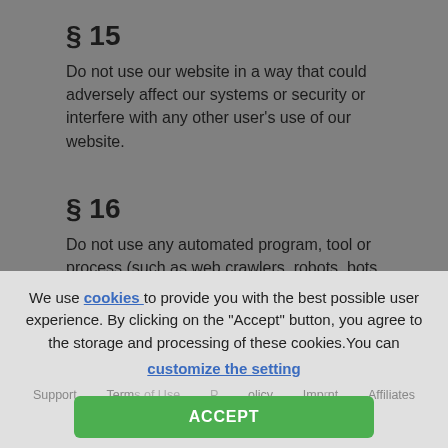§ 15
Do not use our website in a way that could adversely affect our systems or security or interfere with any other user's use of our website.
§ 16
Do not use any automated program, tool or process (such as web crawlers, robots, bots spiders, and automated scripts) to access our website or any server, network or system associated with our website, or to extract, scrape, collect, harvest or gather content or information from our website.
We use cookies to provide you with the best possible user experience. By clicking on the "Accept" button, you agree to the storage and processing of these cookies. You can customize the setting
Support   Terms of Use   Privacy Policy   Imprint   Affiliates